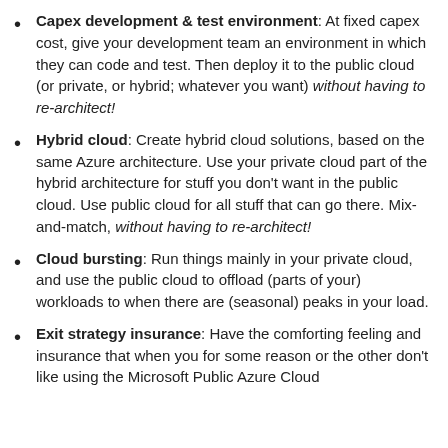Capex development & test environment: At fixed capex cost, give your development team an environment in which they can code and test. Then deploy it to the public cloud (or private, or hybrid; whatever you want) without having to re-architect!
Hybrid cloud: Create hybrid cloud solutions, based on the same Azure architecture. Use your private cloud part of the hybrid architecture for stuff you don't want in the public cloud. Use public cloud for all stuff that can go there. Mix-and-match, without having to re-architect!
Cloud bursting: Run things mainly in your private cloud, and use the public cloud to offload (parts of your) workloads to when there are (seasonal) peaks in your load.
Exit strategy insurance: Have the comforting feeling and insurance that when you for some reason or the other don't like using the Microsoft Public Azure Cloud